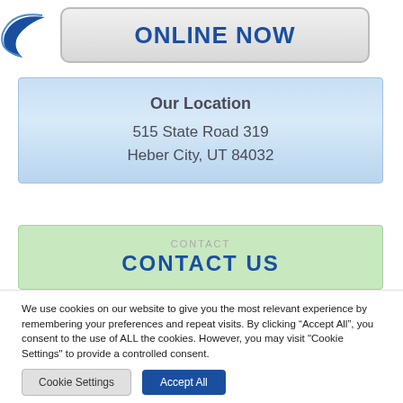[Figure (illustration): A button graphic with arrow/swoosh logo on the left and 'ONLINE NOW' text in bold blue on a light grey rounded rectangle button.]
Our Location
515 State Road 319
Heber City, UT 84032
CONTACT US
We use cookies on our website to give you the most relevant experience by remembering your preferences and repeat visits. By clicking “Accept All”, you consent to the use of ALL the cookies. However, you may visit "Cookie Settings" to provide a controlled consent.
Cookie Settings | Accept All